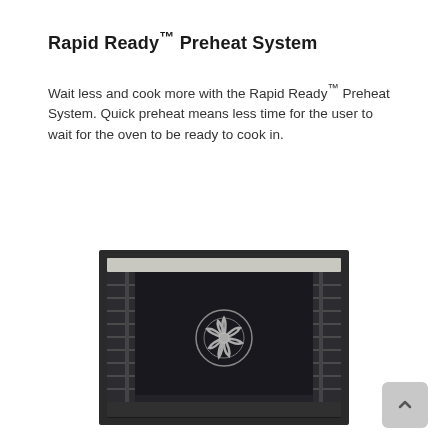Rapid Ready™ Preheat System
Wait less and cook more with the Rapid Ready™ Preheat System. Quick preheat means less time for the user to wait for the oven to be ready to cook in.
[Figure (photo): Interior view of an oven showing racks on the sides, a fan/convection element in the center back wall, and a flat bottom surface, photographed from the front looking in.]